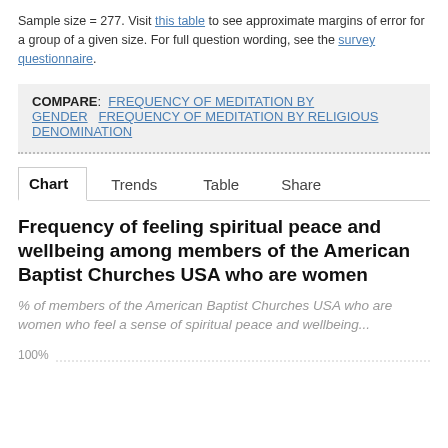Sample size = 277. Visit this table to see approximate margins of error for a group of a given size. For full question wording, see the survey questionnaire.
COMPARE: FREQUENCY OF MEDITATION BY GENDER  FREQUENCY OF MEDITATION BY RELIGIOUS DENOMINATION
Chart  Trends  Table  Share
Frequency of feeling spiritual peace and wellbeing among members of the American Baptist Churches USA who are women
% of members of the American Baptist Churches USA who are women who feel a sense of spiritual peace and wellbeing...
[Figure (other): Partial chart area showing a 100% gridline at the top, suggesting a percentage bar chart that is cut off at the bottom of the page.]